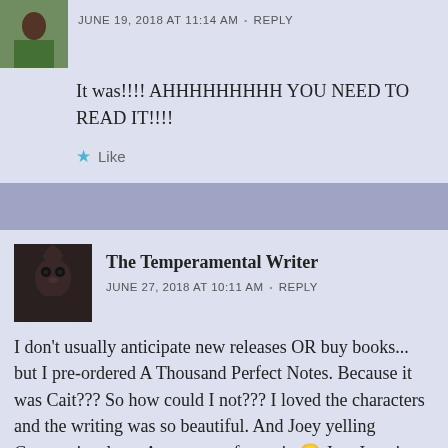[Figure (photo): Small square avatar photo of a person outdoors with green background]
JUNE 19, 2018 AT 11:14 AM  •  REPLY
It was!!!! AHHHHHHHHH YOU NEED TO READ IT!!!!
Like
[Figure (photo): Small square avatar photo showing a dark decorative owl figure]
The Temperamental Writer
JUNE 27, 2018 AT 10:11 AM  •  REPLY
I don't usually anticipate new releases OR buy books... but I pre-ordered A Thousand Perfect Notes. Because it was Cait??? So how could I not??? I loved the characters and the writing was so beautiful. And Joey yelling German insults at August was fantastic 🙂 Just Joey in general actually. Joey wanting a pink knife. Joey asking the Maestro not to hurt Beck. AHHHHHHHHH. And